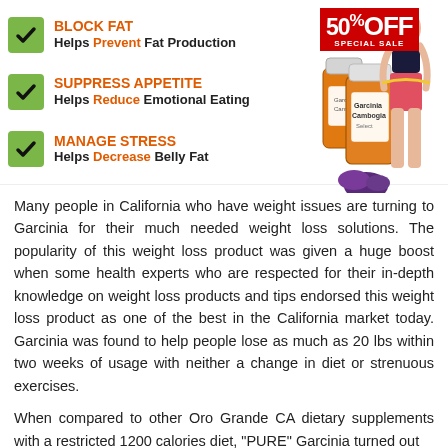BLOCK FAT — Helps Prevent Fat Production
SUPPRESS APPETITE — Helps Reduce Emotional Eating
MANAGE STRESS — Helps Decrease Belly Fat
[Figure (infographic): 50% OFF SPECIAL SALE badge in red, product bottles of Garcinia Cambogia Select with fruit, woman in athletic wear measuring waist]
Many people in California who have weight issues are turning to Garcinia for their much needed weight loss solutions. The popularity of this weight loss product was given a huge boost when some health experts who are respected for their in-depth knowledge on weight loss products and tips endorsed this weight loss product as one of the best in the California market today. Garcinia was found to help people lose as much as 20 lbs within two weeks of usage with neither a change in diet or strenuous exercises.
When compared to other Oro Grande CA dietary supplements with a restricted 1200 calories diet, "PURE" Garcinia turned out